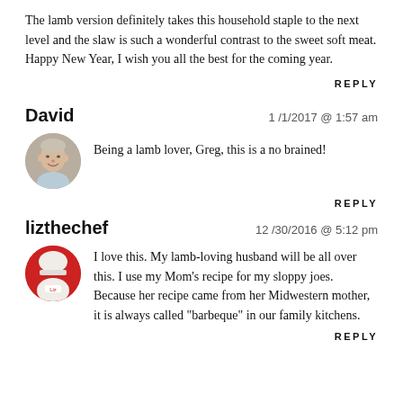The lamb version definitely takes this household staple to the next level and the slaw is such a wonderful contrast to the sweet soft meat. Happy New Year, I wish you all the best for the coming year.
REPLY
David   1 /1/2017 @ 1:57 am
Being a lamb lover, Greg, this is a no brained!
REPLY
lizthechef   12 /30/2016 @ 5:12 pm
I love this. My lamb-loving husband will be all over this. I use my Mom's recipe for my sloppy joes. Because her recipe came from her Midwestern mother, it is always called "barbeque" in our family kitchens.
REPLY